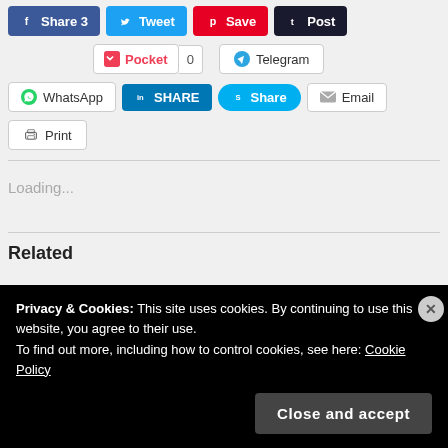[Figure (screenshot): Social share buttons row 1: Facebook Share 3, Tweet, Save (Pinterest), Post (Tumblr)]
[Figure (screenshot): Social share buttons row 2: Pocket with count 0, Telegram]
[Figure (screenshot): Social share buttons row 3: WhatsApp, LinkedIn SHARE, Skype Share, Email]
[Figure (screenshot): Social share button row 4: Print]
Loading...
Related
Privacy & Cookies: This site uses cookies. By continuing to use this website, you agree to their use. To find out more, including how to control cookies, see here: Cookie Policy
[Figure (screenshot): Close and accept button for cookie banner]